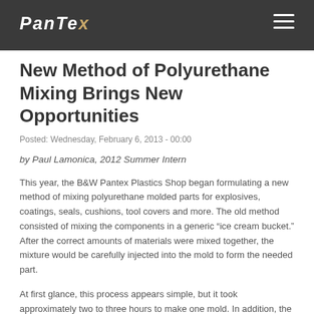Pantex
New Method of Polyurethane Mixing Brings New Opportunities
Posted: Wednesday, February 6, 2013 - 00:00
by Paul Lamonica, 2012 Summer Intern
This year, the B&W Pantex Plastics Shop began formulating a new method of mixing polyurethane molded parts for explosives, coatings, seals, cushions, tool covers and more. The old method consisted of mixing the components in a generic “ice cream bucket.” After the correct amounts of materials were mixed together, the mixture would be carefully injected into the mold to form the needed part.
At first glance, this process appears simple, but it took approximately two to three hours to make one mold. In addition, the cleaning process could expose people to hazardous chemicals. Some of the molds formed bubbles and voids after